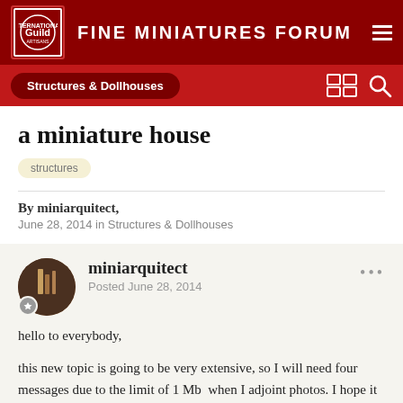FINE MINIATURES FORUM
Structures & Dollhouses
a miniature house
structures
By miniarquitect, June 28, 2014 in Structures & Dollhouses
miniarquitect
Posted June 28, 2014
hello to everybody,
this new topic is going to be very extensive, so I will need four messages due to the limit of 1 Mb  when I adjoint photos. I hope it won't be boring or boring!